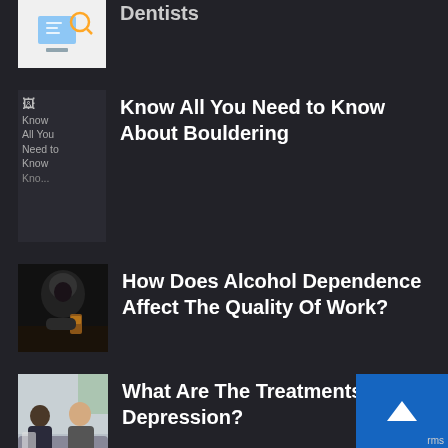[Figure (screenshot): Partial top item showing a dentist-related illustration (white background with icons) and partial title 'Dentists' cut off at top]
[Figure (screenshot): Broken image placeholder showing alt text 'Know All You Need to Know...' for bouldering article]
Know All You Need to Know About Bouldering
[Figure (photo): Person in hooded jacket sitting at table holding a glass of alcohol, head down]
How Does Alcohol Dependence Affect The Quality Of Work?
[Figure (photo): Two people in a therapy or counseling session, one appearing to be a therapist]
What Are The Treatments For Depression?
[Figure (screenshot): Partial blue back-to-top button with upward chevron arrow in bottom right corner, with 'rms' text label]